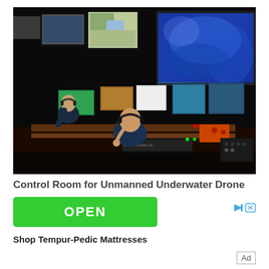[Figure (photo): Control room interior with multiple large monitors displaying underwater and satellite imagery. Operators sitting at a control console with keyboards, joysticks and equipment panels. Large wall-mounted screens show blue underwater/satellite views. The room is dimly lit.]
Control Room for Unmanned Underwater Drone
[Figure (other): Green OPEN button advertisement with ad icons (play and close buttons) in top right. Below reads 'Shop Tempur-Pedic Mattresses']
Shop Tempur-Pedic Mattresses
Ad